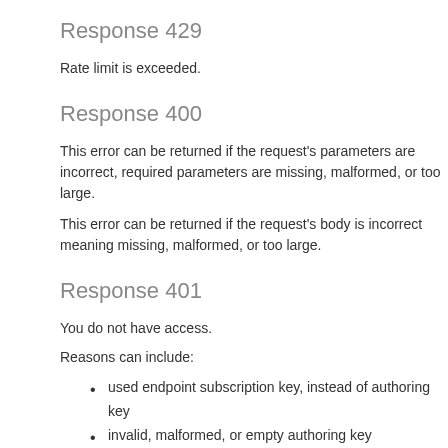Response 429
Rate limit is exceeded.
Response 400
This error can be returned if the request's parameters are incorrect, required parameters are missing, malformed, or too large.
This error can be returned if the request's body is incorrect meaning missing, malformed, or too large.
Response 401
You do not have access.
Reasons can include:
used endpoint subscription key, instead of authoring key
invalid, malformed, or empty authoring key
authoring key doesn't match region
you are not the owner or collaborator
invalid order of API calls